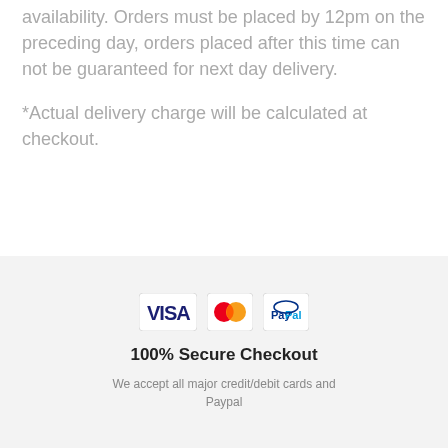availability. Orders must be placed by 12pm on the preceding day, orders placed after this time can not be guaranteed for next day delivery.
*Actual delivery charge will be calculated at checkout.
[Figure (logo): Payment method icons: VISA, Mastercard, PayPal]
100% Secure Checkout
We accept all major credit/debit cards and Paypal